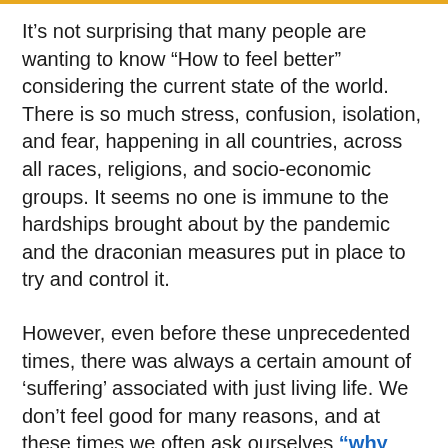It’s not surprising that many people are wanting to know “How to feel better” considering the current state of the world. There is so much stress, confusion, isolation, and fear, happening in all countries, across all races, religions, and socio-economic groups. It seems no one is immune to the hardships brought about by the pandemic and the draconian measures put in place to try and control it.
However, even before these unprecedented times, there was always a certain amount of ‘suffering’ associated with just living life. We don’t feel good for many reasons, and at these times we often ask ourselves “why isn’t my life working out for me?” It’s almost as if we know we are entitled to feel better than the way we do.